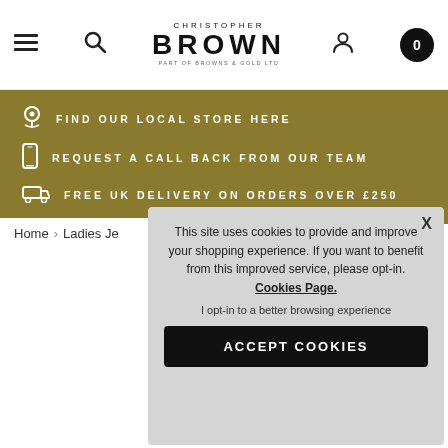Christopher Brown — Part of Browns & Gold Ltd — header with menu, search, account, cart icons
[Figure (infographic): Gold banner with three rows: location pin icon + FIND OUR LOCAL STORE HERE; phone icon + REQUEST A CALL BACK FROM OUR TEAM; truck icon + FREE UK DELIVERY ON ORDERS OVER £250]
Home › Ladies Je...
This site uses cookies to provide and improve your shopping experience. If you want to benefit from this improved service, please opt-in. Cookies Page.

I opt-in to a better browsing experience

ACCEPT COOKIES